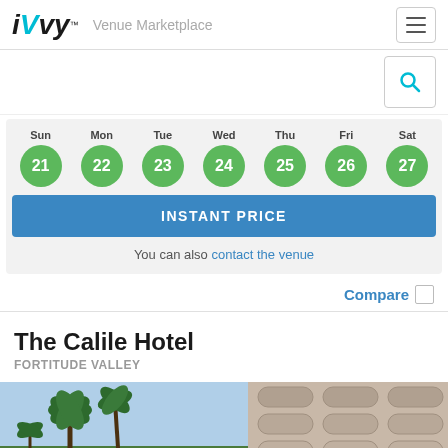iVvy Venue Marketplace
[Figure (screenshot): Search icon button]
[Figure (infographic): Calendar week view with days Sun 21, Mon 22, Tue 23, Wed 24, Thu 25, Fri 26, Sat 27 all highlighted in green circles]
INSTANT PRICE
You can also contact the venue
Compare
The Calile Hotel
FORTITUDE VALLEY
[Figure (photo): Hotel exterior photo showing palm trees on the left and curved balconies of a multi-storey building on the right]